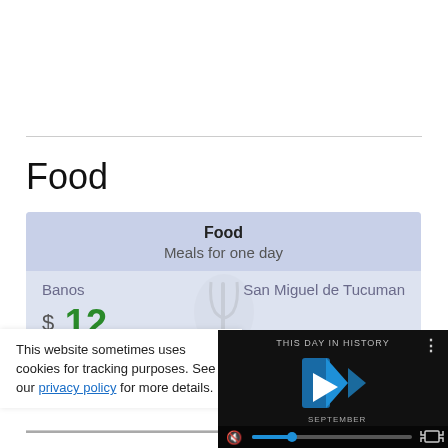Food
| Food |  |
| --- | --- |
| Meals for one day |  |
| Banos | San Miguel de Tucuman |
| $ 12 |  |
This website sometimes uses cookies for tracking purposes. See our privacy policy for more details.
[Figure (screenshot): Video player overlay showing 'THIS DAY IN HISTORY' with play controls and a muted audio icon with a blue progress/volume slider bar.]
Below are a few...